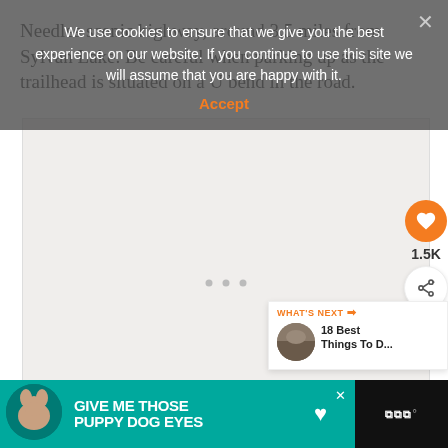Needles scenic highway, around 3.5 miles from Sylvan Lake. Be careful when parking up as the trailhead is situated on a U bend in the road.
[Figure (screenshot): Cookie consent overlay on a gray semi-transparent background with white text and orange Accept button and X close button]
We use cookies to ensure that we give you the best experience on our website. If you continue to use this site we will assume that you are happy with it.
Accept
[Figure (map): Light-colored map or photo area placeholder with faint dots in center]
[Figure (infographic): Social sidebar with orange heart button showing 1.5K likes and share button]
[Figure (screenshot): What's Next card showing thumbnail and text '18 Best Things To D...']
[Figure (screenshot): Advertisement banner with teal background and dog image, text GIVE ME THOSE PUPPY DOG EYES]